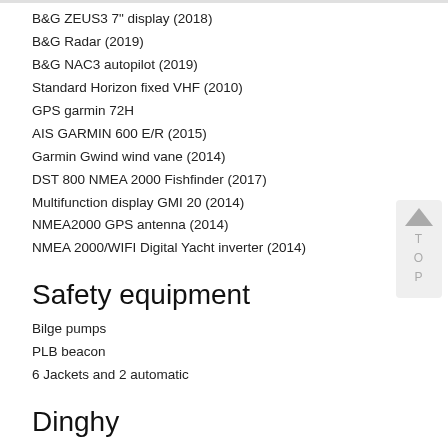B&G ZEUS3 7" display (2018)
B&G Radar (2019)
B&G NAC3 autopilot (2019)
Standard Horizon fixed VHF (2010)
GPS garmin 72H
AIS GARMIN 600 E/R (2015)
Garmin Gwind wind vane (2014)
DST 800 NMEA 2000 Fishfinder (2017)
Multifunction display GMI 20 (2014)
NMEA2000 GPS antenna (2014)
NMEA 2000/WIFI Digital Yacht inverter (2014)
Safety equipment
Bilge pumps
PLB beacon
6 Jackets and 2 automatic
Dinghy
Plastimo PRI270V dinghy (delivery May 2022)